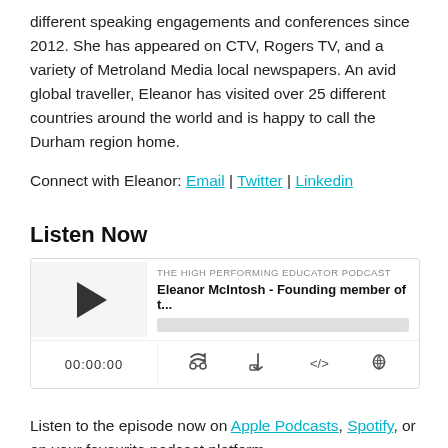different speaking engagements and conferences since 2012. She has appeared on CTV, Rogers TV, and a variety of Metroland Media local newspapers. An avid global traveller, Eleanor has visited over 25 different countries around the world and is happy to call the Durham region home.
Connect with Eleanor: Email | Twitter | Linkedin
Listen Now
[Figure (other): Podcast player widget for 'The High Performing Educator Podcast' episode featuring Eleanor McIntosh - Founding member of t... with play button, time display 00:00:00, and controls.]
Listen to the episode now on Apple Podcasts, Spotify, or on your favourite podcast platform.